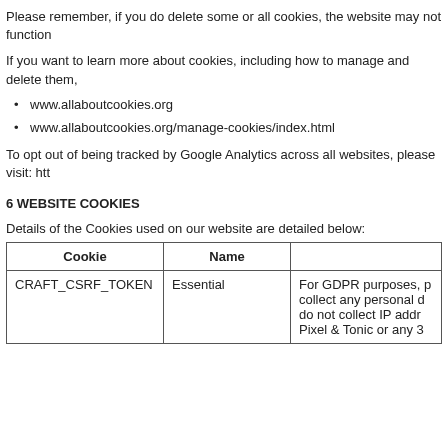Please remember, if you do delete some or all cookies, the website may not function
If you want to learn more about cookies, including how to manage and delete them,
www.allaboutcookies.org
www.allaboutcookies.org/manage-cookies/index.html
To opt out of being tracked by Google Analytics across all websites, please visit: htt
6 WEBSITE COOKIES
Details of the Cookies used on our website are detailed below:
| Cookie | Name |  |
| --- | --- | --- |
| CRAFT_CSRF_TOKEN | Essential | For GDPR purposes, p collect any personal d do not collect IP addr Pixel & Tonic or any 3 |